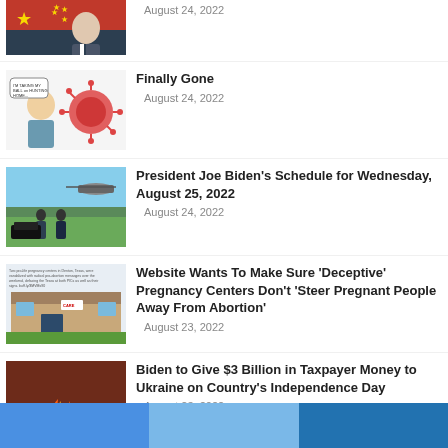[Figure (photo): Partial image of a man in suit with Chinese flag background]
August 24, 2022
[Figure (illustration): Cartoon of person tackling a coronavirus particle with speech bubble]
Finally Gone
August 24, 2022
[Figure (photo): Photo of people walking on grass near helicopter and vehicles]
President Joe Biden’s Schedule for Wednesday, August 25, 2022
August 24, 2022
[Figure (photo): Photo of pregnancy center exterior with small text caption above]
Website Wants To Make Sure ‘Deceptive’ Pregnancy Centers Don’t ‘Steer Pregnant People Away From Abortion’
August 23, 2022
[Figure (photo): Photo of burning money and cash]
Biden to Give $3 Billion in Taxpayer Money to Ukraine on Country’s Independence Day
August 23, 2022